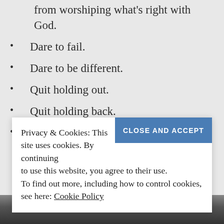Don't let what's wrong with you keep you from worshiping what's right with God.
Dare to fail.
Dare to be different.
Quit holding out.
Quit holding back.
Quit running away.
Privacy & Cookies: This site uses cookies. By continuing to use this website, you agree to their use. To find out more, including how to control cookies, see here: Cookie Policy
[Figure (photo): Photo strip at bottom of page showing partial view of people's feet/shoes]